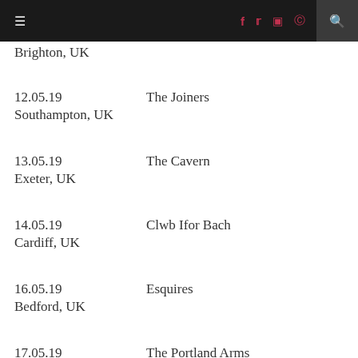Navigation bar with hamburger menu, social icons (f, t, instagram, pinterest), and search
Brighton, UK
12.05.19   The Joiners
Southampton, UK
13.05.19   The Cavern
Exeter, UK
14.05.19   Clwb Ifor Bach
Cardiff, UK
16.05.19   Esquires
Bedford, UK
17.05.19   The Portland Arms
Cambridge, UK